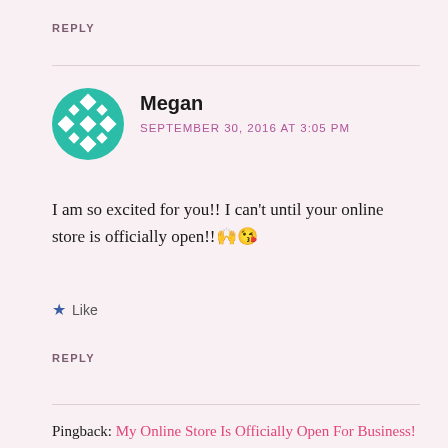REPLY
Megan
SEPTEMBER 30, 2016 AT 3:05 PM
I am so excited for you!! I can't until your online store is officially open!!🙌😘
★ Like
REPLY
Pingback: My Online Store Is Officially Open For Business! – Fab & Ravenous